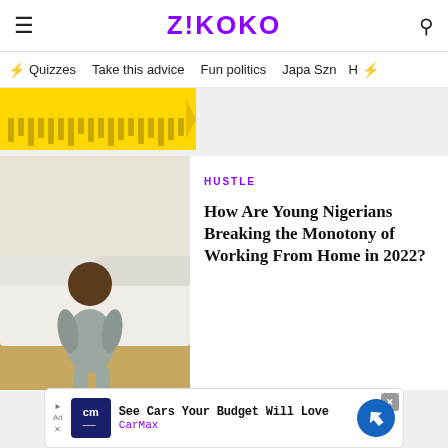Z!KOKO
Quizzes  Take this advice  Fun politics  Japa Szn
[Figure (photo): Yellow banner strip with lines pattern visible at top]
[Figure (photo): A toddler in grey clothes sitting on a white couch with wooden floor background]
HUSTLE
How Are Young Nigerians Breaking the Monotony of Working From Home in 2022?
MORE FROM HUSTLE
[Figure (other): CarMax advertisement banner: See Cars Your Budget Will Love]